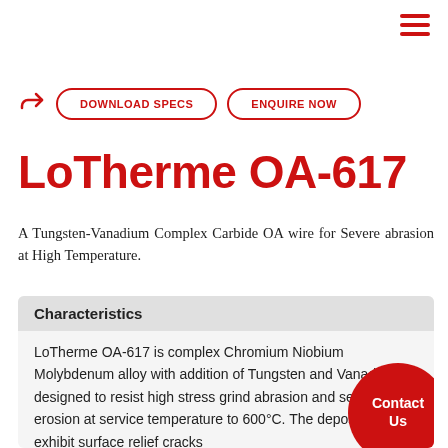[Figure (other): Hamburger menu icon (three horizontal red lines) in top-right corner]
[Figure (other): Share icon and two pill-shaped buttons: DOWNLOAD SPECS and ENQUIRE NOW]
LoTherme OA-617
A Tungsten-Vanadium Complex Carbide OA wire for Severe abrasion at High Temperature.
Characteristics
LoTherme OA-617 is complex Chromium Niobium Molybdenum alloy with addition of Tungsten and Vanadium designed to resist high stress grind abrasion and severe erosion at service temperature to 600°C. The deposits will exhibit surface relief cracks